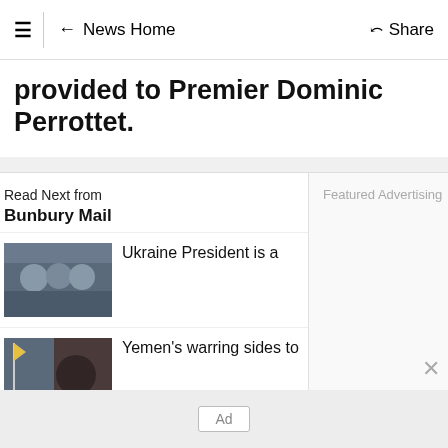≡ | ← News Home   Share
provided to Premier Dominic Perrottet.
Read Next from Bunbury Mail
[Figure (photo): Group of people photo thumbnail for Ukraine President story]
Ukraine President is a
[Figure (photo): Flag and person photo thumbnail for Yemen story]
Yemen's warring sides to
[Figure (photo): Cricket players in red uniforms thumbnail for Zimbabwe story]
Zimbabwe win landmark
Featured Advertising
Ad